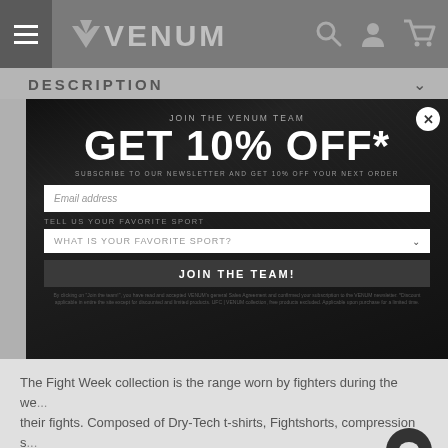[Figure (screenshot): Venum website header with hamburger menu, Venum logo, and navigation icons (search, user, cart) on grey background]
DESCRIPTION
[Figure (screenshot): Popup modal on Venum website: 'JOIN THE VENUM TEAM' header, 'GET 10% OFF*' large headline, 'SUBSCRIBE TO OUR NEWSLETTER AND GET 10% OFF YOUR NEXT ORDER' subtext, email address input field, favorite sport dropdown, 'JOIN THE TEAM!' button, and fine print disclaimer. Background shows a fighter image.]
The Fight Week collection is the range worn by fighters during the week of their fights. Composed of Dry-Tech t-shirts, Fightshorts, compression s... tracksuits.